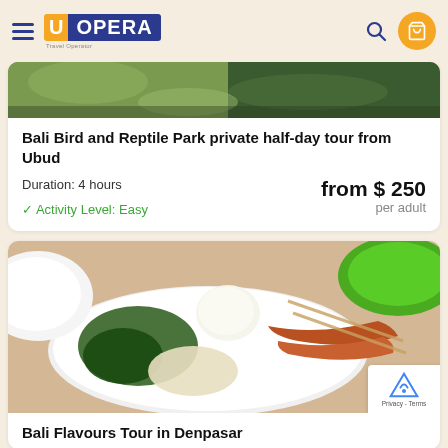[Figure (logo): UOpera travel brand logo with hamburger menu, search icon, and shopping cart]
[Figure (photo): Partial photo of a tropical scene, top portion of Bali Bird and Reptile Park tour listing]
Bali Bird and Reptile Park private half-day tour from Ubud
Duration: 4 hours
from $ 250 per adult
✓ Activity Level: Easy
[Figure (photo): Food photo showing Balinese dish with rice ball, grilled meat skewers, and vegetables on a white plate]
Bali Flavours Tour in Denpasar